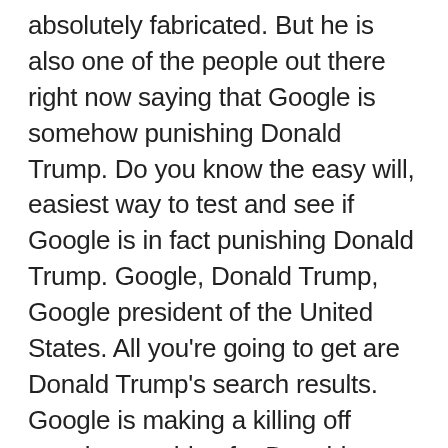absolutely fabricated. But he is also one of the people out there right now saying that Google is somehow punishing Donald Trump. Do you know the easy will, easiest way to test and see if Google is in fact punishing Donald Trump. Google, Donald Trump, Google president of the United States. All you're going to get are Donald Trump's search results. Google is making a killing off people searching for Donald Trump. They're also making the killing off the Trump campaign, buying ads. They, they love him. They really do. Just like the media outlets love him. Even when they talk about how much they hate him because they make a ton of money off of talking about this man every day, but Trump, maybe he wants some Google cash for his campaign. Maybe other conservatives want Google cash. They're already getting it, but they